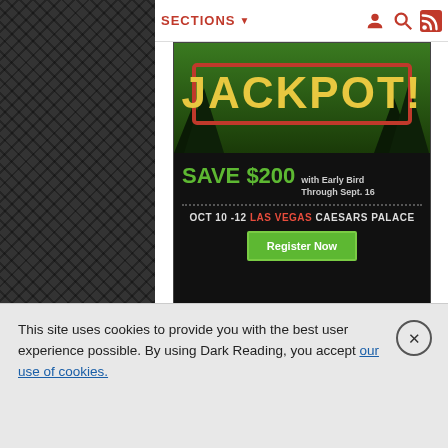SECTIONS
[Figure (infographic): Advertisement banner for a conference: JACKPOT! SAVE $200 with Early Bird Through Sept. 16. OCT 10-12 LAS VEGAS CAESARS PALACE. Register Now button.]
VIDEO
[Figure (screenshot): Video thumbnail showing a man speaking in front of a concrete wall]
[Figure (screenshot): Video thumbnail showing industrial smokestacks with text overlay]
This site uses cookies to provide you with the best user experience possible. By using Dark Reading, you accept our use of cookies.